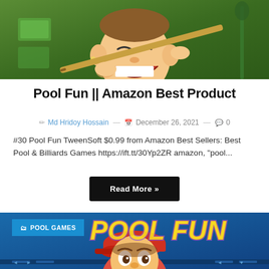[Figure (illustration): Cartoon illustration of a smiling character holding a pool/billiards cue stick against a green background with money bills]
Pool Fun || Amazon Best Product
✏ Md Hridoy Hossain — 📅 December 26, 2021 — 💬 0
#30 Pool Fun TweenSoft $0.99 from Amazon Best Sellers: Best Pool & Billiards Games https://ift.tt/30Yp2ZR amazon, "pool...
Read More »
[Figure (illustration): Colorful cartoon game screenshot showing Pool Fun game with a character in a red cap against a blue Pool Fun themed background. Blue category badge reads POOL GAMES.]